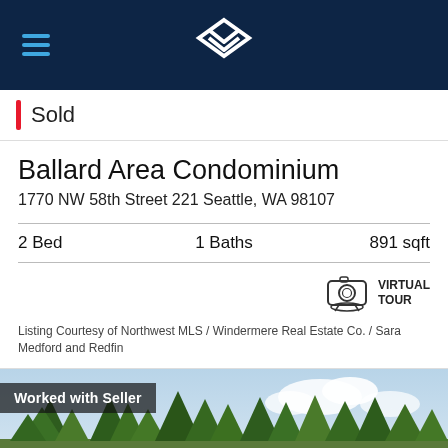Redfin header with logo and hamburger menu
Sold
Ballard Area Condominium
1770 NW 58th Street 221 Seattle, WA 98107
2 Bed   1 Baths   891 sqft
[Figure (illustration): Virtual tour camera icon with circular base]
Listing Courtesy of Northwest MLS / Windermere Real Estate Co. / Sara Medford and Redfin
[Figure (photo): Aerial/outdoor photo of trees and sky with 'Worked with Seller' overlay badge]